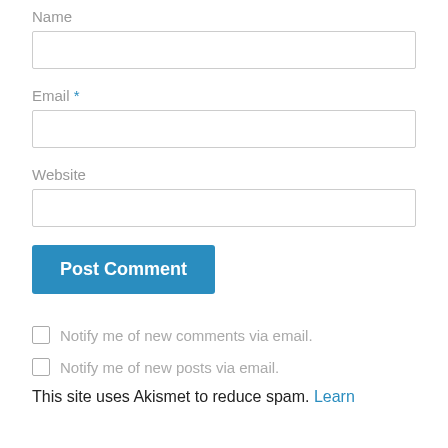Name
Email *
Website
Post Comment
Notify me of new comments via email.
Notify me of new posts via email.
This site uses Akismet to reduce spam. Learn